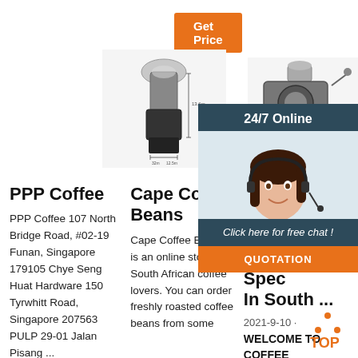Get Price
[Figure (photo): Coffee grinder with dimension lines]
[Figure (photo): Coffee roaster machine]
[Figure (photo): Partial view of coffee equipment]
[Figure (screenshot): 24/7 Online chat widget with customer service agent, 'Click here for free chat!' button and QUOTATION button]
PPP Coffee
PPP Coffee 107 North Bridge Road, #02-19 Funan, Singapore 179105 Chye Seng Huat Hardware 150 Tyrwhitt Road, Singapore 207563 PULP 29-01 Jalan Pisang ...
Cape Coffee Beans
Cape Coffee Beans is an online store for South African coffee lovers. You can order freshly roasted coffee beans from some
Coff Unp - The Coff Specialists In South ...
2021-9-10 · WELCOME TO COFFEE UNPLUGGED. South Africa